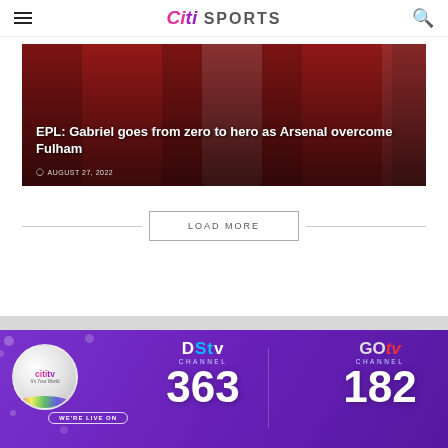Citi SPORTS
[Figure (photo): Arsenal players in red and white jerseys overlaid with article headline and date]
EPL: Gabriel goes from zero to hero as Arsenal overcome Fulham
AUGUST 27, 2022
LOAD MORE
[Figure (advertisement): DStv and GOtv advertisement banner. Citi TV logo on left. Text: WE'RE LIVE ON. DStv Channel 363. GOtv Channel 182.]